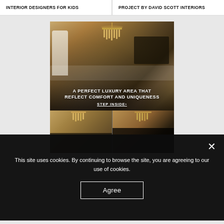INTERIOR DESIGNERS FOR KIDS
PROJECT BY DAVID SCOTT INTERIORS
[Figure (photo): Luxury interior room with golden chandelier, classical white statue, marble surfaces, and sophisticated furniture. Two smaller interior photos below showing similar luxury spaces.]
A PERFECT LUXURY AREA THAT REFLECT COMFORT AND UNIQUENESS
STEP INSIDE›
This site uses cookies. By continuing to browse the site, you are agreeing to our use of cookies.
Agree